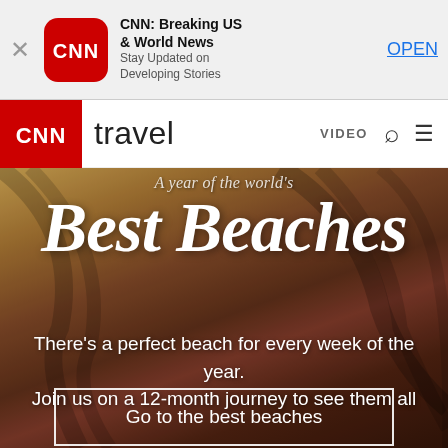[Figure (screenshot): App store banner for CNN: Breaking US & World News app with close button, CNN icon, app title, subtitle 'Stay Updated on Developing Stories', and OPEN button]
CNN travel | VIDEO 🔍 ≡
[Figure (photo): CNN Travel hero image with beach/palm frond background. Text overlay reads 'A year of the world's Best Beaches'. Subtext: 'There's a perfect beach for every week of the year. Join us on a 12-month journey to see them all'. CTA button: 'Go to the best beaches']